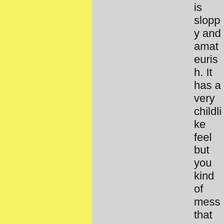is sloppy and amateurish. It has a very childlike feel but you kind of mess that up